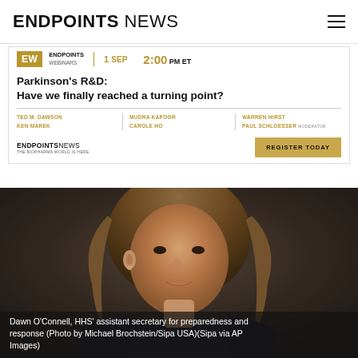ENDPOINTS NEWS
[Figure (infographic): Endpoints Webinars ad banner for Parkinson's R&D webinar. Date: 1 SEP, Time: 2:00 PM ET. Title: Parkinson's R&D: Have we finally reached a turning point? Speakers: Ted M. Dawson, Ken Marek, Mudra Kapoor, Carole Ho, Warren Hirst, Paul Schloesser (Moderator). Register Today button.]
[Figure (photo): Photo of Dawn O'Connell, HHS' assistant secretary for preparedness and response. Photo credit: Michael Brochstein/Sipa USA via AP Images.]
Dawn O'Connell, HHS' assistant secretary for preparedness and response (Photo by Michael Brochstein/Sipa USA)(Sipa via AP Images)